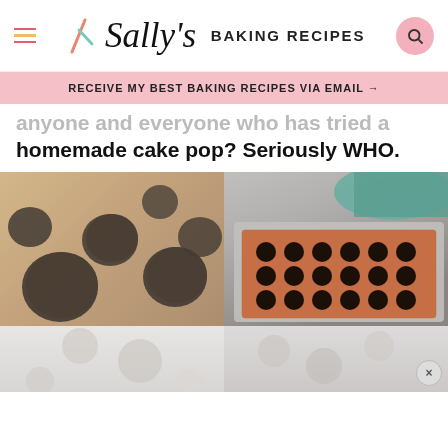Sally's Baking Recipes
RECEIVE MY BEST BAKING RECIPES VIA EMAIL →
anyone and everyone who has tried a homemade cake pop? Seriously WHO.
[Figure (photo): Two photos: close-up of dark chocolate cake pop balls on a surface, and an overhead view of chocolate cake pop balls arranged on a silicone baking mat on a tray with a teal cloth nearby]
[Figure (photo): Bottom portion of two more photos, partially visible, showing cake pop process steps]